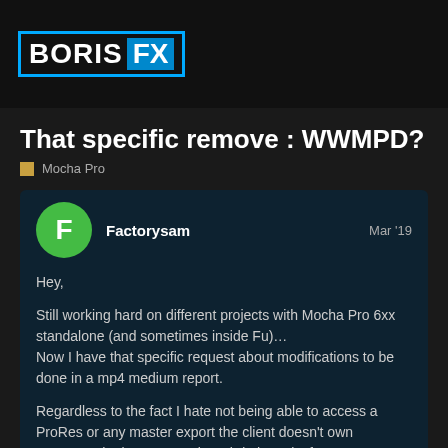[Figure (logo): Boris FX logo — white text 'BORIS' and blue box 'FX' with cyan border, on black background]
That specific remove : WWMPD?
Mocha Pro
Factorysam
Mar '19
Hey,

Still working hard on different projects with Mocha Pro 6xx standalone (and sometimes inside Fu)…
Now I have that specific request about modifications to be done in a mp4 medium report.

Regardless to the fact I hate not being able to access a ProRes or any master export the client doesn't own anymore, the last request is weird : he asks for a modification of a name in the closing rolling credits, which is not so easy at the end of the day.